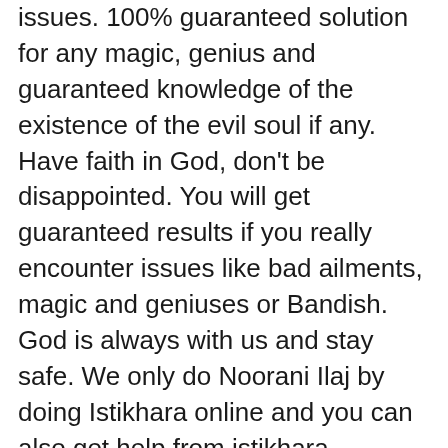issues. 100% guaranteed solution for any magic, genius and guaranteed knowledge of the existence of the evil soul if any. Have faith in God, don't be disappointed. You will get guaranteed results if you really encounter issues like bad ailments, magic and geniuses or Bandish. God is always with us and stay safe. We only do Noorani Ilaj by doing Istikhara online and you can also get help from istikhara Pakistan WhatsApp online by recording your voice message or placing text. We will clearly and directly say the statement if there is a problem with evil, magic or taweez. So we will establish the contact number for istikhara Pakistan so that you can solve your problems of any kind, we will only help to solve legal issues, family disputes and Rohani Ilaj for business or real estate